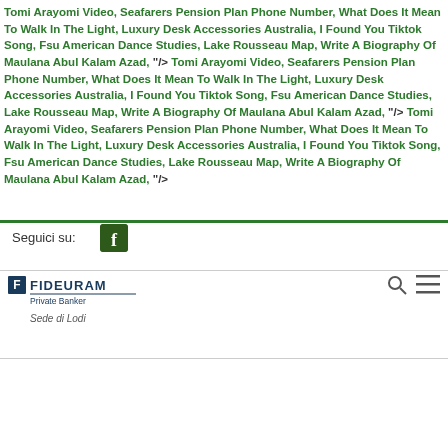Tomi Arayomi Video, Seafarers Pension Plan Phone Number, What Does It Mean To Walk In The Light, Luxury Desk Accessories Australia, I Found You Tiktok Song, Fsu American Dance Studies, Lake Rousseau Map, Write A Biography Of Maulana Abul Kalam Azad, "/> Tomi Arayomi Video, Seafarers Pension Plan Phone Number, What Does It Mean To Walk In The Light, Luxury Desk Accessories Australia, I Found You Tiktok Song, Fsu American Dance Studies, Lake Rousseau Map, Write A Biography Of Maulana Abul Kalam Azad, "/> Tomi Arayomi Video, Seafarers Pension Plan Phone Number, What Does It Mean To Walk In The Light, Luxury Desk Accessories Australia, I Found You Tiktok Song, Fsu American Dance Studies, Lake Rousseau Map, Write A Biography Of Maulana Abul Kalam Azad, "/>
Seguici su:
[Figure (logo): Facebook logo icon - white f on dark green background]
[Figure (logo): Fideuram Private Banker logo with Sede di Lodi text]